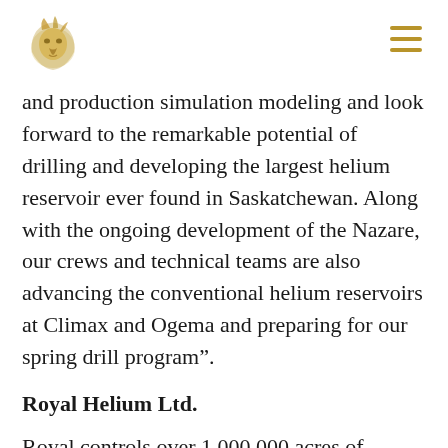Royal Helium Ltd. header with logo
and production simulation modeling and look forward to the remarkable potential of drilling and developing the largest helium reservoir ever found in Saskatchewan. Along with the ongoing development of the Nazare, our crews and technical teams are also advancing the conventional helium reservoirs at Climax and Ogema and preparing for our spring drill program”.
Royal Helium Ltd.
Royal controls over 1,000,000 acres of prospective helium land in southwestern and south-east Saskatchewan. All of Royals’ lands are in close